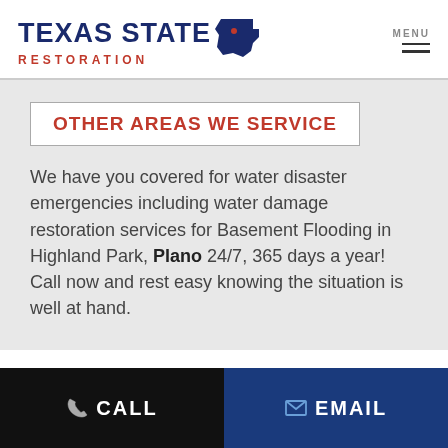TEXAS STATE RESTORATION — MENU
OTHER AREAS WE SERVICE
We have you covered for water disaster emergencies including water damage restoration services for Basement Flooding in Highland Park, Plano 24/7, 365 days a year! Call now and rest easy knowing the situation is well at hand.
CALL   EMAIL